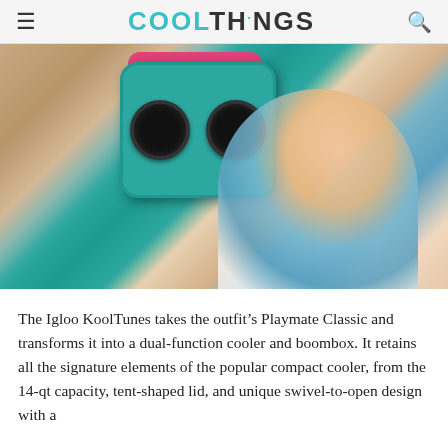COOLTHINGS
[Figure (photo): A woman smiling and holding up a teal Igloo KoolTunes cooler/boombox with two large speaker grilles on front and a pink lid, outdoors in a sunny setting.]
The Igloo KoolTunes takes the outfit’s Playmate Classic and transforms it into a dual-function cooler and boombox. It retains all the signature elements of the popular compact cooler, from the 14-qt capacity, tent-shaped lid, and unique swivel-to-open design with a